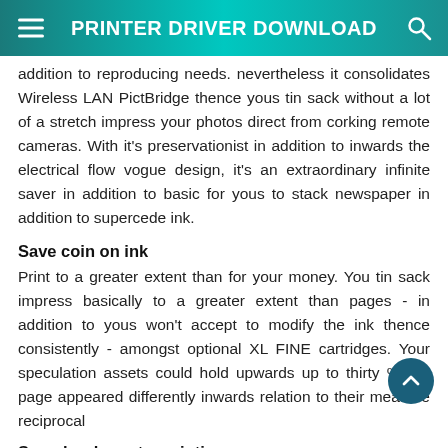PRINTER DRIVER DOWNLOAD
addition to reproducing needs. nevertheless it consolidates Wireless LAN PictBridge thence yous tin sack without a lot of a stretch impress your photos direct from corking remote cameras. With it's preservationist in addition to inwards the electrical flow vogue design, it's an extraordinary infinite saver in addition to basic for yous to stack newspaper in addition to supercede ink.
Save coin on ink
Print to a greater extent than for your money. You tin sack impress basically to a greater extent than pages - in addition to yous won't accept to modify the ink thence consistently - amongst optional XL FINE cartridges. Your speculation assets could hold upwards up to thirty % per page appeared differently inwards relation to their measure reciprocal
Speedy, character printing